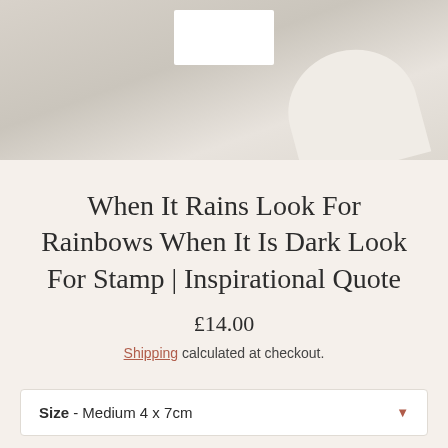[Figure (photo): Product lifestyle photo showing a white card/stamp on a light wood surface with a curved cream object in the background]
When It Rains Look For Rainbows When It Is Dark Look For Stamp | Inspirational Quote
£14.00
Shipping calculated at checkout.
Size  -  Medium 4 x 7cm